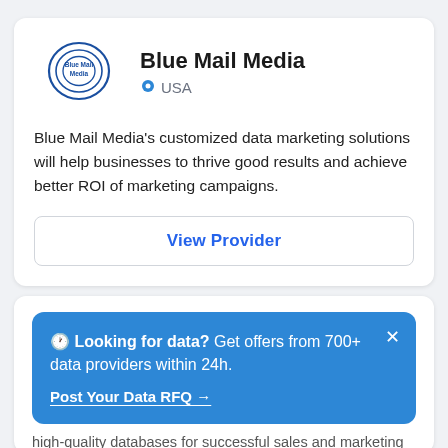[Figure (logo): Blue Mail Media circular logo with concentric rings and company name text]
Blue Mail Media
📍 USA
Blue Mail Media's customized data marketing solutions will help businesses to thrive good results and achieve better ROI of marketing campaigns.
View Provider
🕐 Looking for data? Get offers from 700+ data providers within 24h.
Post Your Data RFQ →
high-quality databases for successful sales and marketing